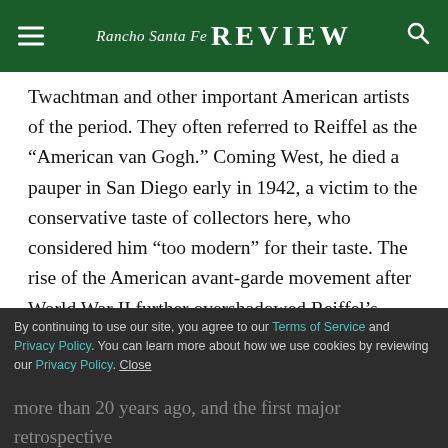Rancho Santa Fe Review
Twachtman and other important American artists of the period. They often referred to Reiffel as the “American van Gogh.” Coming West, he died a pauper in San Diego early in 1942, a victim to the conservative taste of collectors here, who considered him “too modern” for their taste. The rise of the American avant-garde movement after World War II further overshadowed Reiffel’s legacy.
This is the most important exhibition of Reiffel’s work more than 20 years ago, and the first major retrospective of the artist’s work since his death in 1942. The
By continuing to use our site, you agree to our Terms of Service and Privacy Policy. You can learn more about how we use cookies by reviewing our Privacy Policy. Close